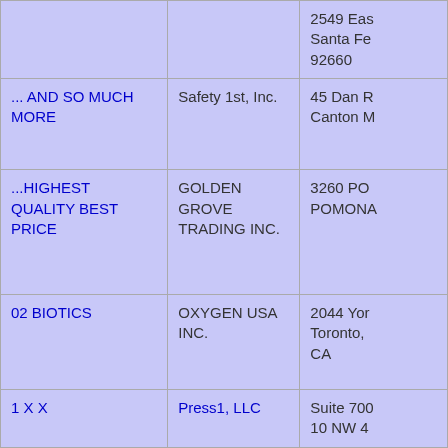| Product/Brand | Company | Address |
| --- | --- | --- |
|  |  | 2549 Eas...
Santa Fe...
92660 |
| ... AND SO MUCH MORE | Safety 1st, Inc. | 45 Dan R...
Canton M... |
| ...HIGHEST QUALITY BEST PRICE | GOLDEN GROVE TRADING INC. | 3260 PO...
POMONA... |
| 02 BIOTICS | OXYGEN USA INC. | 2044 Yor...
Toronto, ...
CA |
| 1 X X | Press1, LLC | Suite 700...
10 NW 4... |